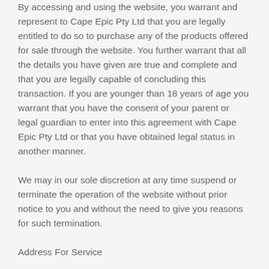By accessing and using the website, you warrant and represent to Cape Epic Pty Ltd that you are legally entitled to do so to purchase any of the products offered for sale through the website. You further warrant that all the details you have given are true and complete and that you are legally capable of concluding this transaction. If you are younger than 18 years of age you warrant that you have the consent of your parent or legal guardian to enter into this agreement with Cape Epic Pty Ltd or that you have obtained legal status in another manner.
We may in our sole discretion at any time suspend or terminate the operation of the website without prior notice to you and without the need to give you reasons for such termination.
Address For Service
The address for service for all purposes relating to these terms of use including the giving of any notice, the payment of any sum, the serving of any process, is the address set out above and the fax number set out above.